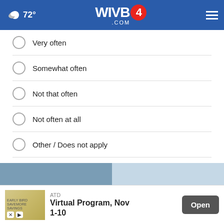☁ 72° | WIVB4.COM
Very often
Somewhat often
Not that often
Not often at all
Other / Does not apply
NEXT *
* By clicking "NEXT" you agree to the following: We use cookies to track your survey answers. If you would like to continue with this survey, please read and agree to the CivicScience Privacy Policy and Terms of Service
TOP STORIES
[Figure (screenshot): ATD advertisement banner: Virtual Program, Nov 1-10 with Open button]